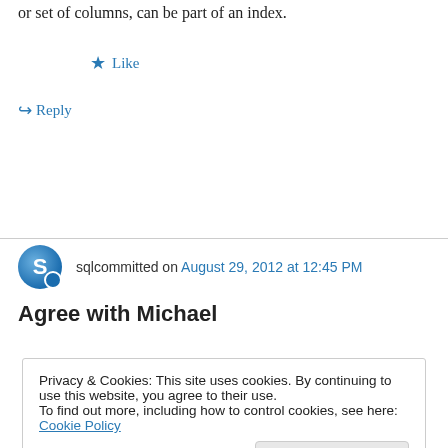or set of columns, can be part of an index.
★ Like
↳ Reply
sqlcommitted on August 29, 2012 at 12:45 PM
Agree with Michael
Privacy & Cookies: This site uses cookies. By continuing to use this website, you agree to their use.
To find out more, including how to control cookies, see here: Cookie Policy
Close and accept